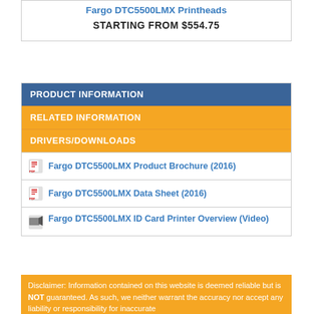Fargo DTC5500LMX Printheads
STARTING FROM $554.75
PRODUCT INFORMATION
RELATED INFORMATION
DRIVERS/DOWNLOADS
Fargo DTC5500LMX Product Brochure (2016)
Fargo DTC5500LMX Data Sheet (2016)
Fargo DTC5500LMX ID Card Printer Overview (Video)
Disclaimer: Information contained on this website is deemed reliable but is NOT guaranteed. As such, we neither warrant the accuracy nor accept any liability or responsibility for inaccurate